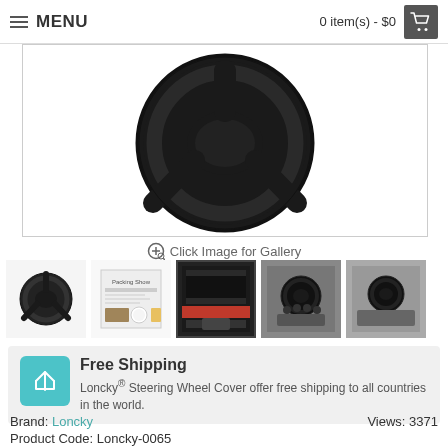MENU | 0 item(s) - $0
[Figure (photo): Black leather steering wheel cover product main image, close-up top view]
Click Image for Gallery
[Figure (photo): Thumbnail 1: Black steering wheel cover front view]
[Figure (photo): Thumbnail 2: Packaging/instructions sheet]
[Figure (photo): Thumbnail 3: Product detail/install image (highlighted/active)]
[Figure (photo): Thumbnail 4: Steering wheel installed in car dashboard view]
[Figure (photo): Thumbnail 5: Steering wheel installed side angle in car]
Free Shipping
Loncky® Steering Wheel Cover offer free shipping to all countries in the world.
Brand: Loncky
Product Code: Loncky-0065
Availability: In Stock
Views: 3371